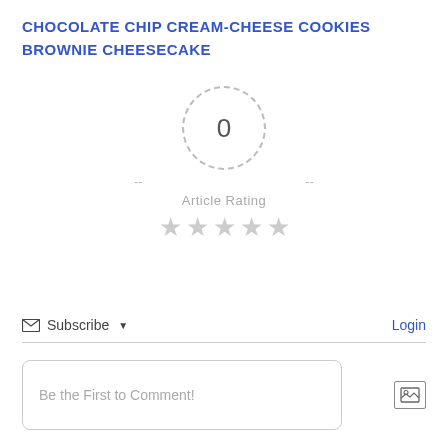CHOCOLATE CHIP CREAM-CHEESE COOKIES
BROWNIE CHEESECAKE
[Figure (other): Article rating widget showing 0 rating in a dashed circle with dashes on either side, 'Article Rating' label, and five empty gray stars below]
Subscribe ▾
Login
Be the First to Comment!